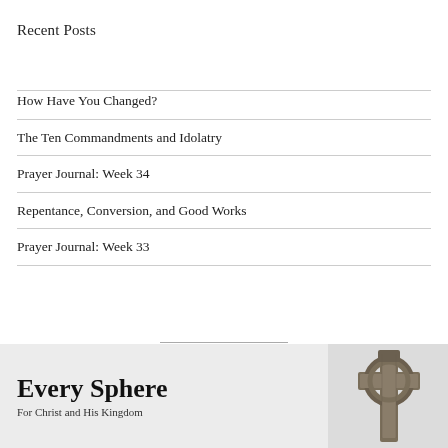Recent Posts
How Have You Changed?
The Ten Commandments and Idolatry
Prayer Journal: Week 34
Repentance, Conversion, and Good Works
Prayer Journal: Week 33
[Figure (illustration): Celtic cross stone monument against a grey-white sky background, partially visible at bottom right of footer bar]
Every Sphere
For Christ and His Kingdom